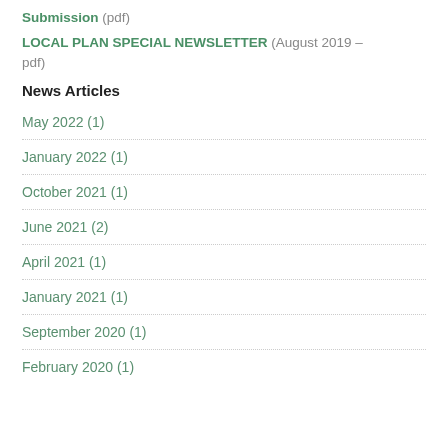Submission (pdf)
LOCAL PLAN SPECIAL NEWSLETTER (August 2019 – pdf)
News Articles
May 2022 (1)
January 2022 (1)
October 2021 (1)
June 2021 (2)
April 2021 (1)
January 2021 (1)
September 2020 (1)
February 2020 (1)